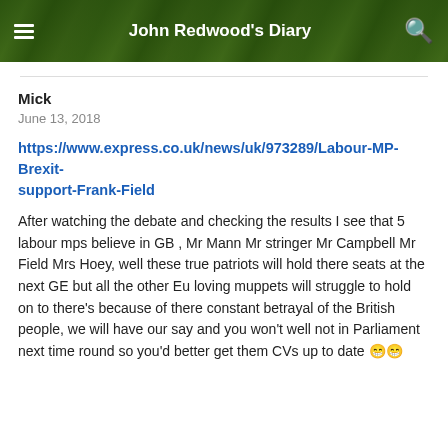John Redwood's Diary
Mick
June 13, 2018
https://www.express.co.uk/news/uk/973289/Labour-MP-Brexit-support-Frank-Field
After watching the debate and checking the results I see that 5 labour mps believe in GB , Mr Mann Mr stringer Mr Campbell Mr Field Mrs Hoey, well these true patriots will hold there seats at the next GE but all the other Eu loving muppets will struggle to hold on to there's because of there constant betrayal of the British people, we will have our say and you won't well not in Parliament next time round so you'd better get them CVs up to date 😁😁